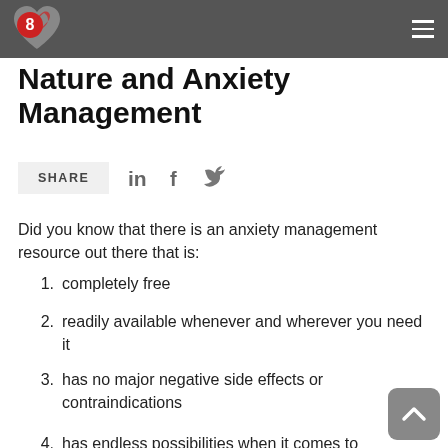Nature and Anxiety Management
Nature and Anxiety Management
[Figure (logo): Heart logo with number 8 inside, in red and gray, on dark gray header bar]
SHARE (with LinkedIn, Facebook, Twitter icons)
Did you know that there is an anxiety management resource out there that is:
completely free
readily available whenever and wherever you need it
has no major negative side effects or contraindications
has endless possibilities when it comes to how